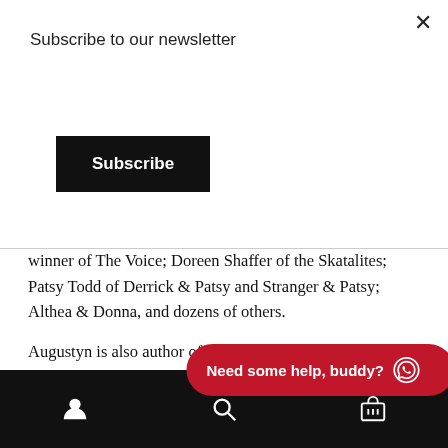Subscribe to our newsletter
Subscribe
winner of The Voice; Doreen Shaffer of the Skatalites; Patsy Todd of Derrick & Patsy and Stranger & Patsy; Althea & Donna, and dozens of others.
Augustyn is also author of Don Drummond: The Genius and Tragedy of the World's Greatest Trombonist, McFarland 2013; Ska: An Oral History, McFarland 2010; and Ska: The Rhythm of Liberation, Scarecrow Press 2013. She is a correspondent for The Times of Northwest Indiana and an adjunct professor at Purdue University
Need some help, buddy?
Navigation bar with user, search, and cart icons